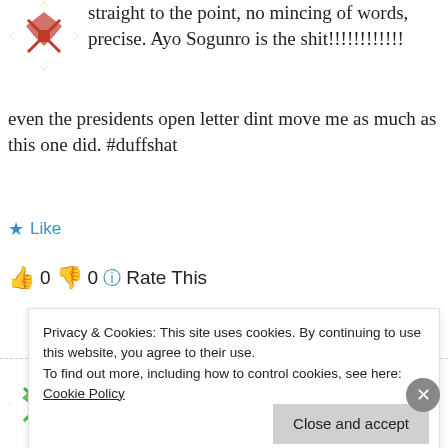[Figure (illustration): Red and white geometric avatar icon (quilt-pattern style) in top left]
straight to the point, no mincing of words, precise. Ayo Sogunro is the shit!!!!!!!!!!!! even the presidents open letter dint move me as much as this one did. #duffshat
Like
0  0  Rate This
Reply
[Figure (illustration): Green and white geometric avatar icon for SHADOW-WALKER]
SHADOW-WALKER says: March 5, 2014 at 7:14 pm
Privacy & Cookies: This site uses cookies. By continuing to use this website, you agree to their use. To find out more, including how to control cookies, see here: Cookie Policy
Close and accept
Advertisements
Opinions. We all have them!